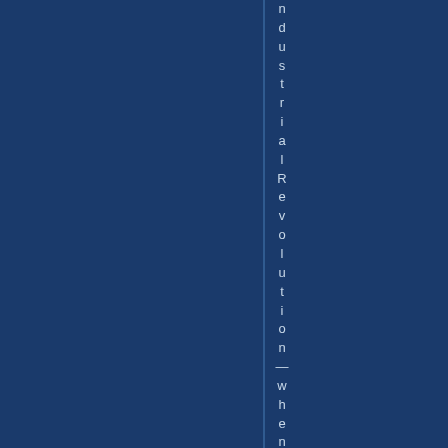[Figure (other): Dark navy blue book cover or document page with a thin vertical line and vertically oriented text reading 'ndustrial Revolution — when the opp' running top to bottom, rendered one character per line in light blue-gray color on a dark navy background.]